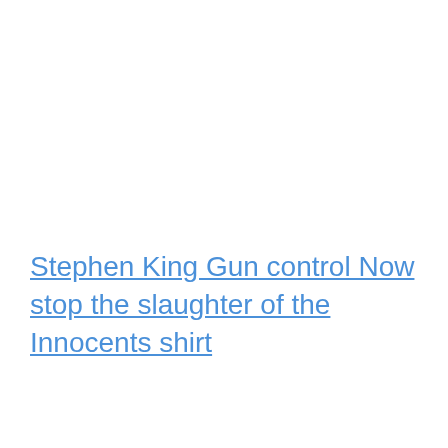Stephen King Gun control Now stop the slaughter of the Innocents shirt